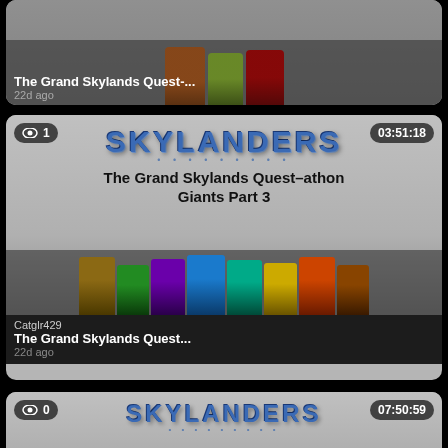[Figure (screenshot): Partial video card at top showing 'The Grand Skylands Quest-...' thumbnail from Skylanders video, 22d ago]
[Figure (screenshot): Video card: Skylanders thumbnail with logo and characters, title 'The Grand Skylands Quest-athon Giants Part 3', views badge '1', duration '03:51:18', username Catgrlr429, 22d ago]
[Figure (screenshot): Partial video card at bottom: Skylanders thumbnail, title 'The Grand Skylands Quest-athon Giants Part 2', views badge '0', duration '07:50:59']